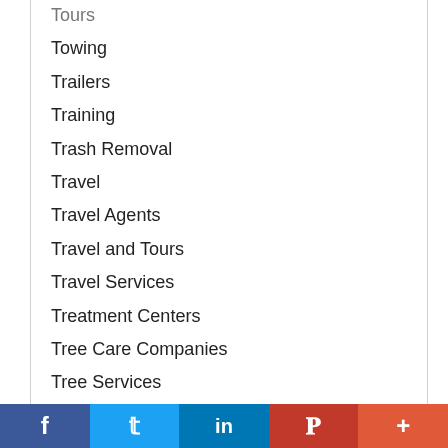Tours
Towing
Trailers
Training
Trash Removal
Travel
Travel Agents
Travel and Tours
Travel Services
Treatment Centers
Tree Care Companies
Tree Services
Tutoring
Upholstery
Facebook Twitter LinkedIn Pinterest More